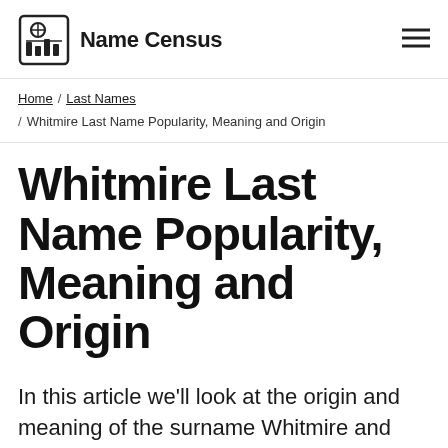Name Census
Home / Last Names / Whitmire Last Name Popularity, Meaning and Origin
Whitmire Last Name Popularity, Meaning and Origin
In this article we'll look at the origin and meaning of the surname Whitmire and how popular it is in the United States.